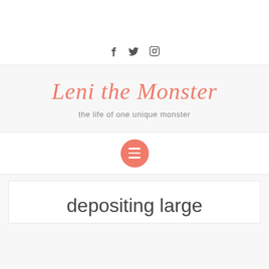f  🐦  ⬜ (social icons: Facebook, Twitter, Instagram)
Leni the Monster
the life of one unique monster
[Figure (other): Circular salmon/coral colored hamburger menu button with three white horizontal lines]
depositing large